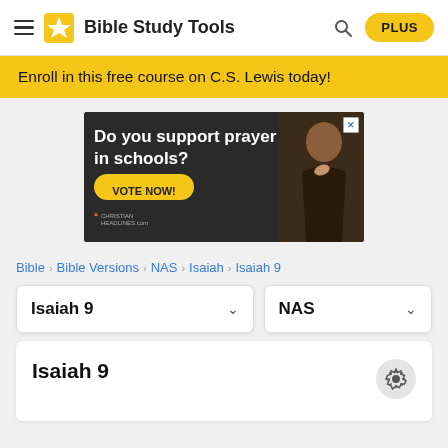Bible Study Tools
Enroll in this free course on C.S. Lewis today!
[Figure (screenshot): Advertisement with dark background showing text 'Do you support prayer in schools?' with a yellow 'VOTE NOW!' button and Christian Headlines logo, alongside an image of a child praying.]
Bible > Bible Versions > NAS > Isaiah > Isaiah 9
Isaiah 9 NAS
Isaiah 9